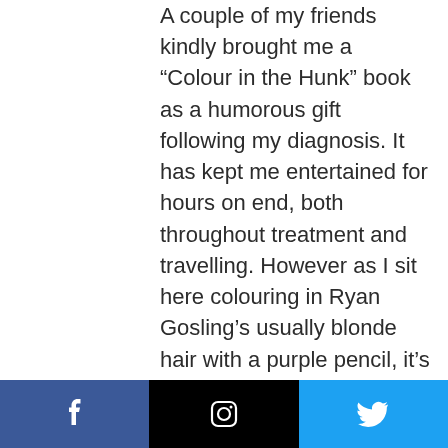A couple of my friends kindly brought me a “Colour in the Hunk” book as a humorous gift following my diagnosis. It has kept me entertained for hours on end, both throughout treatment and travelling. However as I sit here colouring in Ryan Gosling’s usually blonde hair with a purple pencil, it’s made me realise that people see things, the way they want to see them. We all have a version of ourselves that we like to portray and a version that we keep private. In this blog, number eleven, over eighteen months since my diagnosis, I’m ready to sharpen my pencil and venture into the more uncomfortable realities of my struggles
Facebook | Instagram | Twitter